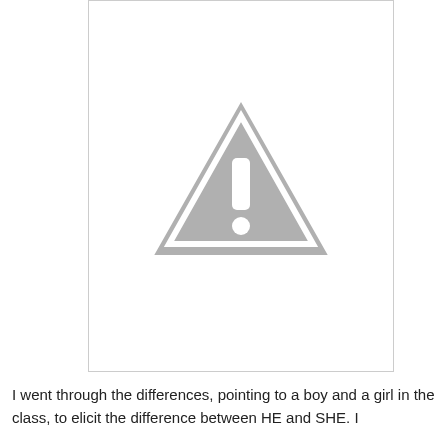[Figure (other): A placeholder image with a grey warning/caution triangle icon (exclamation mark inside triangle) on a white background with a light grey border.]
I went through the differences, pointing to a boy and a girl in the class, to elicit the difference between HE and SHE. I